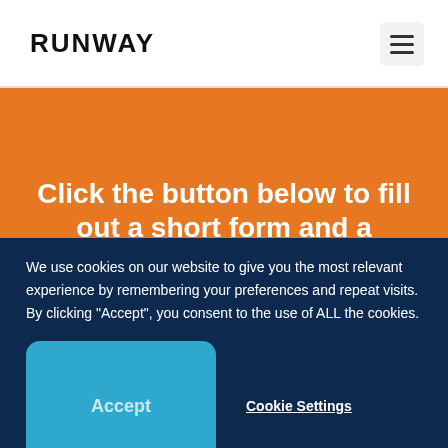RUNWAY
Click the button below to fill out a short form and a strategist from our
We use cookies on our website to give you the most relevant experience by remembering your preferences and repeat visits. By clicking “Accept”, you consent to the use of ALL the cookies.
Accept
Cookie Settings